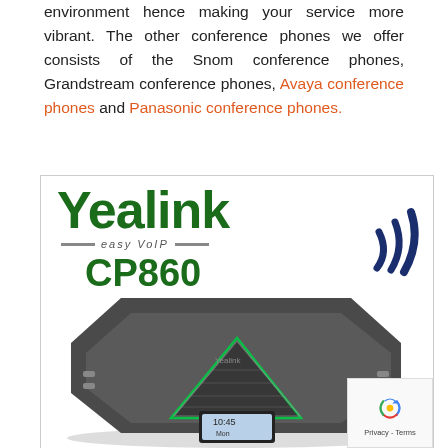environment hence making your service more vibrant. The other conference phones we offer consists of the Snom conference phones, Grandstream conference phones, Avaya conference phones and Panasonic conference phones.
[Figure (photo): Yealink CP860 conference phone product image with Yealink Easy VoIP branding and WiFi signal icon, showing the physical conference phone device]